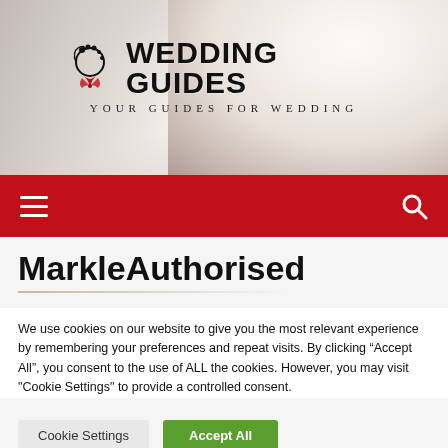[Figure (photo): Wedding Guides website header banner with bride in white wedding dress holding a floral bouquet, with site logo showing decorative scroll icon and text 'WEDDING GUIDES' with tagline 'YOUR GUIDES FOR WEDDING']
WEDDING GUIDES — YOUR GUIDES FOR WEDDING
[Figure (screenshot): Red navigation bar with hamburger menu icon on left and search magnifying glass icon on right]
MarkleAuthorised
We use cookies on our website to give you the most relevant experience by remembering your preferences and repeat visits. By clicking "Accept All", you consent to the use of ALL the cookies. However, you may visit "Cookie Settings" to provide a controlled consent.
Cookie Settings | Accept All